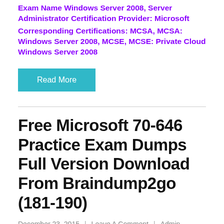Exam Name Windows Server 2008, Server Administrator Certification Provider: Microsoft
Corresponding Certifications: MCSA, MCSA: Windows Server 2008, MCSE, MCSE: Private Cloud Windows Server 2008
Read More
Free Microsoft 70-646 Practice Exam Dumps Full Version Download From Braindump2go (181-190)
December 23, 2015  |  Leave A Comment  |  Admin